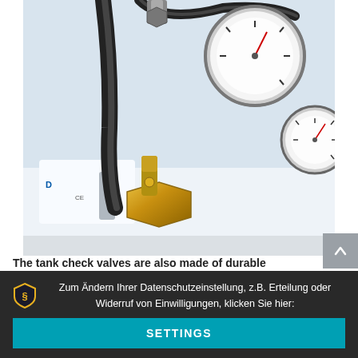[Figure (photo): Close-up photo of industrial pressure testing equipment showing pressure gauges in the upper right, black rubber hoses, a brass check valve fitting mounted on a white tank body with blue logo markings. Equipment appears to be a water filtration or pressure testing system.]
The tank check valves are also made of durable
Zum Ändern Ihrer Datenschutzeinstellung, z.B. Erteilung oder Widerruf von Einwilligungen, klicken Sie hier:
SETTINGS